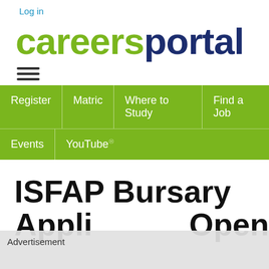Log in
[Figure (logo): careersportal logo in green and dark navy blue text]
[Figure (other): Hamburger menu icon (three horizontal lines)]
Register | Matric | Where to Study | Find a Job | Events | YouTube
ISFAP Bursary Application Will Open
Advertisement